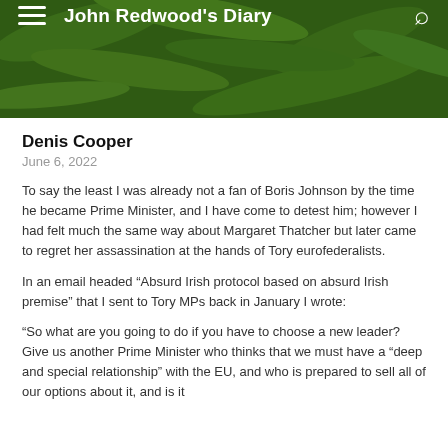John Redwood's Diary
Denis Cooper
June 6, 2022
To say the least I was already not a fan of Boris Johnson by the time he became Prime Minister, and I have come to detest him; however I had felt much the same way about Margaret Thatcher but later came to regret her assassination at the hands of Tory eurofederalists.
In an email headed “Absurd Irish protocol based on absurd Irish premise” that I sent to Tory MPs back in January I wrote:
“So what are you going to do if you have to choose a new leader? Give us another Prime Minister who thinks that we must have a “deep and special relationship” with the EU, and who is prepared to sellall of our options about it, and is it